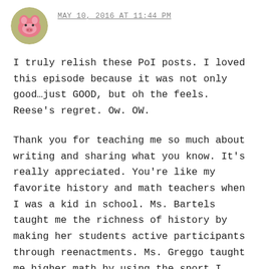MAY 10, 2016 AT 11:44 PM
I truly relish these PoI posts. I loved this episode because it was not only good…just GOOD, but oh the feels. Reese's regret. Ow. OW.
Thank you for teaching me so much about writing and sharing what you know. It's really appreciated. You're like my favorite history and math teachers when I was a kid in school. Ms. Bartels taught me the richness of history by making her students active participants through reenactments. Ms. Greggo taught me higher math by using the sport I adore: baseball. Now you have fed my soul discussing writing by Person of Interest. Thanks.